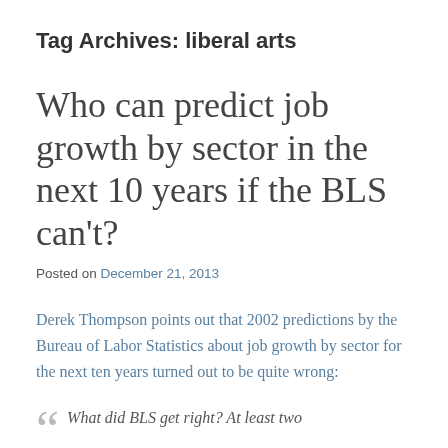Tag Archives: liberal arts
Who can predict job growth by sector in the next 10 years if the BLS can't?
Posted on December 21, 2013
Derek Thompson points out that 2002 predictions by the Bureau of Labor Statistics about job growth by sector for the next ten years turned out to be quite wrong:
What did BLS get right? At least two